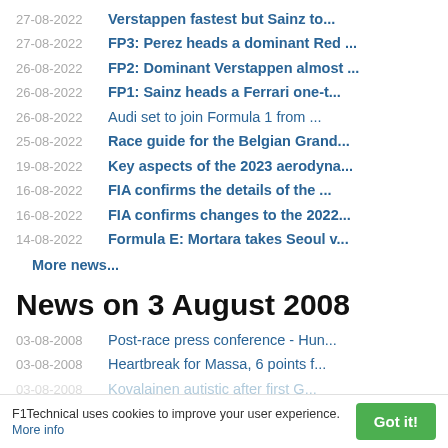27-08-2022  Verstappen fastest but Sainz to...
27-08-2022  FP3: Perez heads a dominant Red ...
26-08-2022  FP2: Dominant Verstappen almost ...
26-08-2022  FP1: Sainz heads a Ferrari one-t...
26-08-2022  Audi set to join Formula 1 from ...
25-08-2022  Race guide for the Belgian Grand...
19-08-2022  Key aspects of the 2023 aerodyna...
16-08-2022  FIA confirms the details of the ...
16-08-2022  FIA confirms changes to the 2022...
14-08-2022  Formula E: Mortara takes Seoul v...
More news...
News on 3 August 2008
03-08-2008  Post-race press conference - Hun...
03-08-2008  Heartbreak for Massa, 6 points f...
03-08-2008  Kovalainen autistic after first G...
F1Technical uses cookies to improve your user experience. More info  Got it!